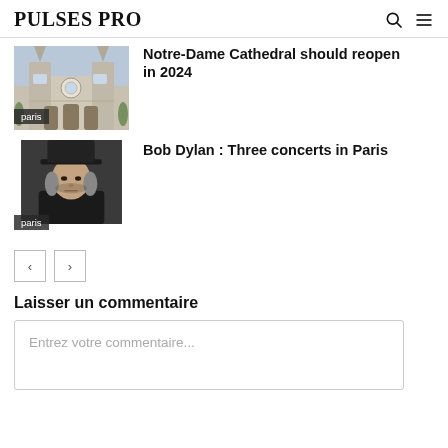PULSES PRO
[Figure (photo): Notre-Dame Cathedral facade photo with paris tag]
Notre-Dame Cathedral should reopen in 2024
[Figure (photo): Bob Dylan portrait photo with hat, paris tag]
Bob Dylan : Three concerts in Paris
< >
Laisser un commentaire
Entrez votre commentaire...